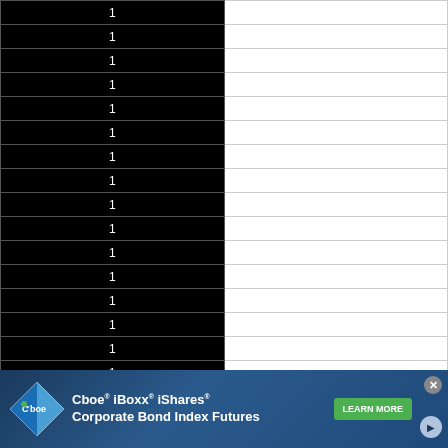|  |  |
| --- | --- |
| 1 |  |
| 1 |  |
| 1 |  |
| 1 |  |
| 1 |  |
| 1 |  |
| 1 |  |
| 1 |  |
| 1 |  |
| 1 |  |
| 1 |  |
| 1 |  |
| 1 |  |
| 1 |  |
| 1 |  |
| 1 |  |
[Figure (infographic): Cboe iBoxx iShares Corporate Bond Index Futures advertisement banner with Cboe diamond logo, green Learn More button, close button, and play button]